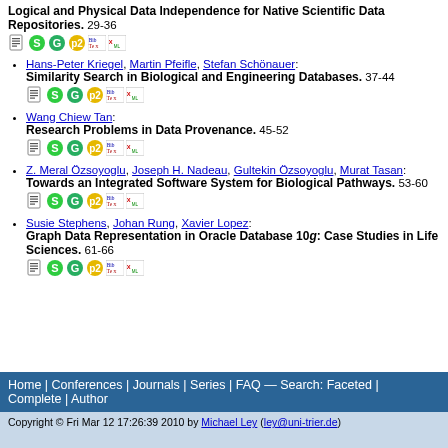Logical and Physical Data Independence for Native Scientific Data Repositories. 29-36
Hans-Peter Kriegel, Martin Pfeifle, Stefan Schönauer: Similarity Search in Biological and Engineering Databases. 37-44
Wang Chiew Tan: Research Problems in Data Provenance. 45-52
Z. Meral Özsoyoglu, Joseph H. Nadeau, Gultekin Özsoyoglu, Murat Tasan: Towards an Integrated Software System for Biological Pathways. 53-60
Susie Stephens, Johan Rung, Xavier Lopez: Graph Data Representation in Oracle Database 10g: Case Studies in Life Sciences. 61-66
Home | Conferences | Journals | Series | FAQ — Search: Faceted | Complete | Author
Copyright © Fri Mar 12 17:26:39 2010 by Michael Ley (ley@uni-trier.de)